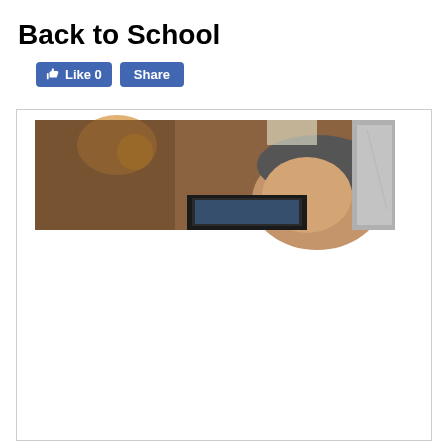Back to School
[Figure (screenshot): Social media Like and Share buttons (Facebook style, blue)]
[Figure (photo): A cropped photo showing a person's head/face in an indoor setting with warm lighting, partially visible; right portion shows a lighter grey/white background area.]
The thought of back to school is the subject of many